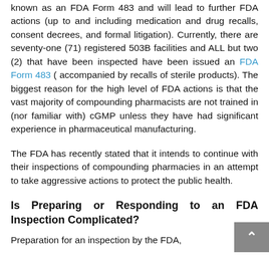known as an FDA Form 483 and will lead to further FDA actions (up to and including medication and drug recalls, consent decrees, and formal litigation). Currently, there are seventy-one (71) registered 503B facilities and ALL but two (2) that have been inspected have been issued an FDA Form 483 ( accompanied by recalls of sterile products). The biggest reason for the high level of FDA actions is that the vast majority of compounding pharmacists are not trained in (nor familiar with) cGMP unless they have had significant experience in pharmaceutical manufacturing.
The FDA has recently stated that it intends to continue with their inspections of compounding pharmacies in an attempt to take aggressive actions to protect the public health.
Is Preparing or Responding to an FDA Inspection Complicated?
Preparation for an inspection by the FDA, or responding to an FDA inspect...